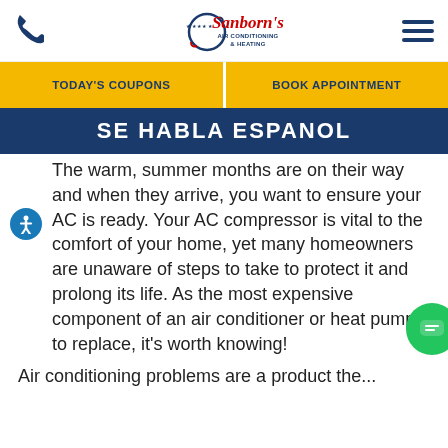Sanborn's Air Conditioning & Heating — phone icon, hamburger menu
TODAY'S COUPONS | BOOK APPOINTMENT
SE HABLA ESPANOL
The warm, summer months are on their way and when they arrive, you want to ensure your AC is ready. Your AC compressor is vital to the comfort of your home, yet many homeowners are unaware of steps to take to protect it and prolong its life. As the most expensive component of an air conditioner or heat pump to replace, it's worth knowing!
Air conditioning problems are a product the...